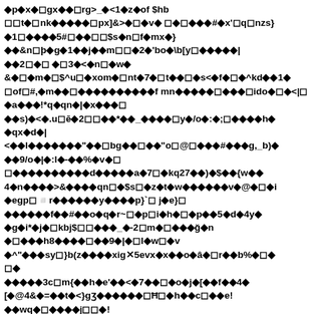◆p◆x◆◻gx◆◆◻rg>_◆<1◆z◆of $hb
◻◻t◆◻nk◆◆◆◆◆◻px]&>◆◻◆v◆ ◻◆◻◆◆◆#◆x'◻q◻nzs}
◆1◻◆◆◆◆5#◻◆◆◻◻$s◆n◻f◆mx◆}
◆◆&n◻þ◆g◆1◆◆j◆◆m◻◻◆2◆'bo◆\b[y◻◆◆◆◆◆|
◆◆2◻◆◻ ◆◻3◆<◆n◻◆w◆
&◆◻◆m◆◻$^u◻◆xom◆◻nt◆7◆◻t◆◆◻◆s<◆f◆◻◆^kd◆◆1◆
◻of◻#,◆m◆◆◻◆◆◆◆◆◆◆◆◆◆f mn◆◆◆◆◆◻◆◆◆◻ido◆◻◆<|◻
◆a◆◆◆!*q◆qn◆|◆x◆◆◆◻
◆◆s)◆<◆.u◻ē◆2◻◻◆◆*◆◆_◆◆◆◆◻y◆/o◆:◆;◻◆◆◆◆h◆
◆qx◆d◆|
<◆◆l◆◆◆◆◆◆◆"◆◆◻bg◆◆◻◆◆"o◻@◻◆◆◆#◆◆◆g,_b)◆
◆◆9/o◆|◆:l◆-◆◆%◆v◆◻
◻◆◆◆◆◆◆◆◆◆◆d◆◆◆◆◆a◆7◻◆kq27◆◆)◆$◆◆{w◆◆
4◆n◆◆◆◆>&◆◆◆◆qn◻◆$s◻◆z◆t◆w◆◆◆◆◆◆v◆@◆◻◆i
◆egp◻◽r◆◆◆◆◆◆y◆◆◆◆p}`◻ j◆e}◻
◆◆◆◆◆◆f◆◆#◆◆o◆q◆r~◻◆p◻i◆h◆◻◆p◆◆5◆d◆4y◆
◆g◆i*◆j◆◻kbj$◻◻◆◆◆_◆-2◻m◆◻◆◆◆ğ◆n
◆◻◆◆◆h8◆◆◆◆◻◆◆9◆|◆◻l◆w◻◆v
◆^"◆◆◆sy◻}b(z◆◆◆◆xig✕5evx◆x◆◆o◆â◆◻r◆◆b%◆◻◆
◻◆
◆◆◆◆◆3c◻m{◆◆h◆e'◆◆<◆7◆◆◻◆o◆j◆[◆◆f◆◆4◆
[◆@4&◆=◆◆t◆<}gʒ◆◆◆◆◆◆◻Ħ◻◆h◆◆c◻◆◆e!
◆◆wq◆◻◆◆◆◆j◻◻◆!
◆◆◆"◆◆i'◆◆8◆◆_◆◆◆◆_◆7◆◆◻◆_◆8◆◆%(◆◆◆◆◆◻l◆◻◆◆